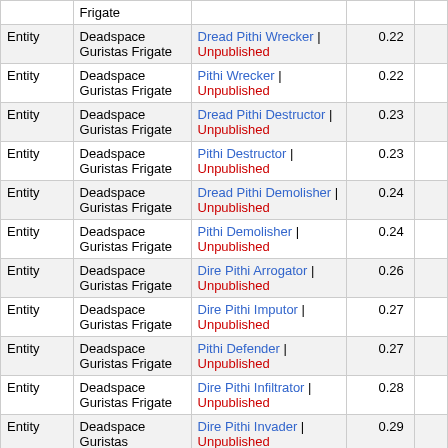|  |  |  |  |  |
| --- | --- | --- | --- | --- |
|  | Frigate |  |  |  |
| Entity | Deadspace Guristas Frigate | Dread Pithi Wrecker | Unpublished |  | 0.22 |
| Entity | Deadspace Guristas Frigate | Pithi Wrecker | Unpublished |  | 0.22 |
| Entity | Deadspace Guristas Frigate | Dread Pithi Destructor | Unpublished |  | 0.23 |
| Entity | Deadspace Guristas Frigate | Pithi Destructor | Unpublished |  | 0.23 |
| Entity | Deadspace Guristas Frigate | Dread Pithi Demolisher | Unpublished |  | 0.24 |
| Entity | Deadspace Guristas Frigate | Pithi Demolisher | Unpublished |  | 0.24 |
| Entity | Deadspace Guristas Frigate | Dire Pithi Arrogator | Unpublished |  | 0.26 |
| Entity | Deadspace Guristas Frigate | Dire Pithi Imputor | Unpublished |  | 0.27 |
| Entity | Deadspace Guristas Frigate | Pithi Defender | Unpublished |  | 0.27 |
| Entity | Deadspace Guristas Frigate | Dire Pithi Infiltrator | Unpublished |  | 0.28 |
| Entity | Deadspace Guristas Frigate | Dire Pithi Invader | Unpublished |  | 0.29 |